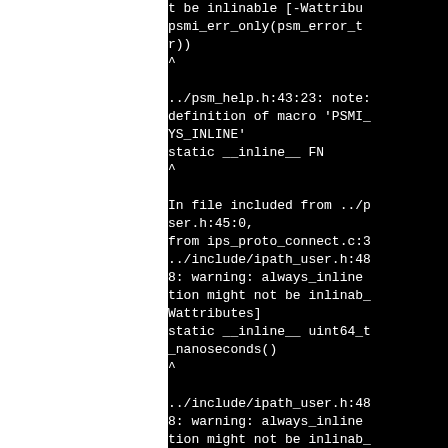t be inlinable [-Wattribu
psmi_err_only(psm_error_t
r))
^

../psm_help.h:43:23: note:
definition of macro 'PSMI_
YS_INLINE'
static __inline__ FN
^

In file included from ../p
ser.h:45:0,
from ips_proto_connect.c:3
../include/ipath_user.h:48
8: warning: always_inline
tion might not be inlinab_
Wattributes]
static __inline__ uint64_t
_nanoseconds()
^

../include/ipath_user.h:48
8: warning: always_inline
tion might not be inlinab_
Wattributes]
static  __inline__  uint64